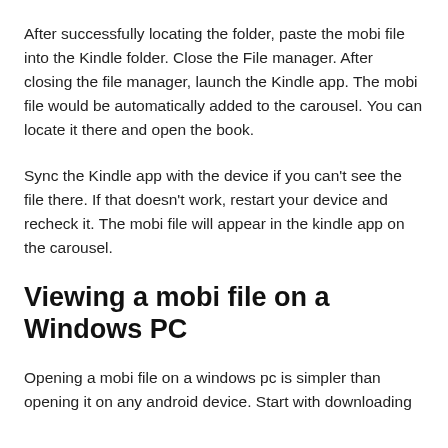After successfully locating the folder, paste the mobi file into the Kindle folder. Close the File manager. After closing the file manager, launch the Kindle app. The mobi file would be automatically added to the carousel. You can locate it there and open the book.
Sync the Kindle app with the device if you can't see the file there. If that doesn't work, restart your device and recheck it. The mobi file will appear in the kindle app on the carousel.
Viewing a mobi file on a Windows PC
Opening a mobi file on a windows pc is simpler than opening it on any android device. Start with downloading